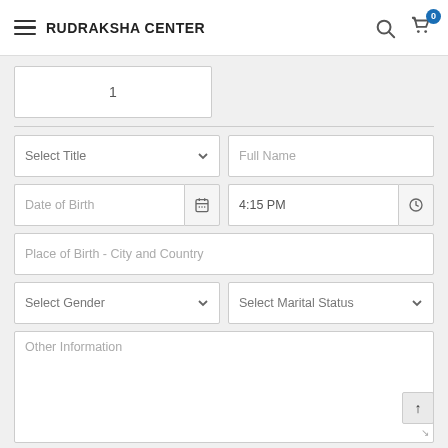RUDRAKSHA CENTER
1
Select Title
Full Name
Date of Birth
4:15 PM
Place of Birth - City and Country
Select Gender
Select Marital Status
Other Information